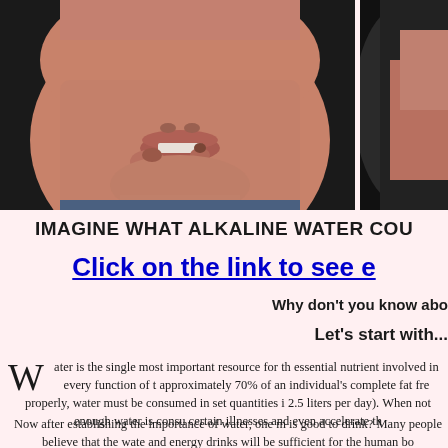[Figure (photo): Close-up photo of a child's face with skin rash/eczema around the mouth and chin area, shown against a dark background. A partial second photo is visible on the right edge.]
IMAGINE WHAT ALKALINE WATER COU
Click on the link to see e
Why don't you know abo
Let's start with...
Water is the single most important resource for th essential nutrient involved in every function of t approximately 70% of an individual's complete fat fre properly, water must be consumed in set quantities i 2.5 liters per day). When not enough water is consu certain illnesses and even accelerate th
Now after establishing the importance of water, one m is good to drink? Many people believe that the wate and energy drinks will be sufficient for the human bo